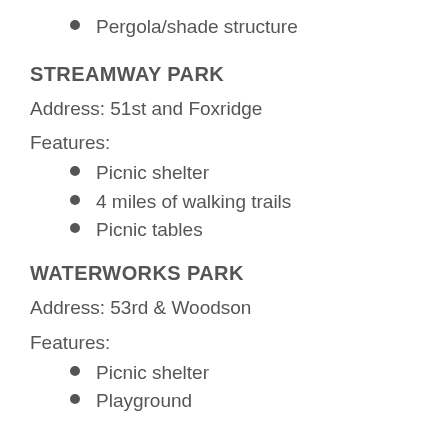Pergola/shade structure
STREAMWAY PARK
Address: 51st and Foxridge
Features:
Picnic shelter
4 miles of walking trails
Picnic tables
WATERWORKS PARK
Address: 53rd & Woodson
Features:
Picnic shelter
Playground